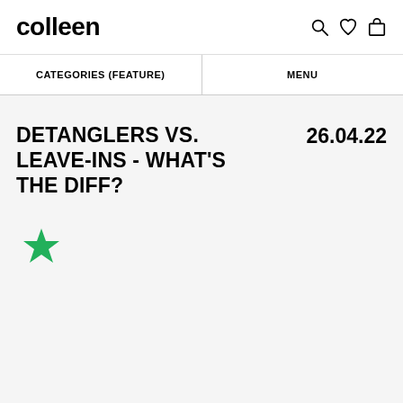colleen
CATEGORIES (FEATURE)   MENU
DETANGLERS VS. LEAVE-INS - WHAT'S THE DIFF?
26.04.22
[Figure (illustration): Green star icon]